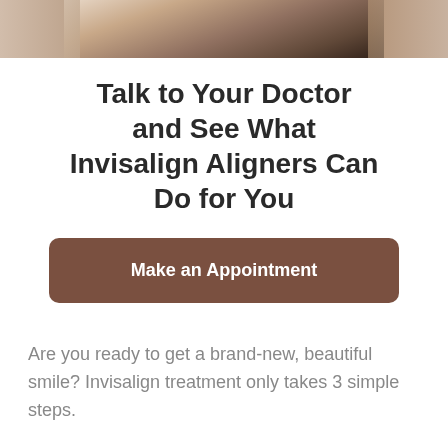[Figure (photo): Partial view of a dental office scene showing a tray with dental models and instruments, with a person in a striped outfit visible in the background.]
Talk to Your Doctor and See What Invisalign Aligners Can Do for You
Make an Appointment
Are you ready to get a brand-new, beautiful smile? Invisalign treatment only takes 3 simple steps.